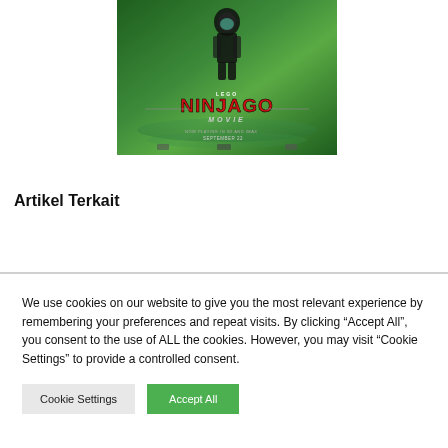[Figure (photo): LEGO Ninjago Movie promotional poster — character hanging upside down over green water backdrop with LEGO Ninjago Movie title text in red, September release date, IMAX logo]
[Figure (other): Red CLOSE button with X icon]
Artikel Terkait
We use cookies on our website to give you the most relevant experience by remembering your preferences and repeat visits. By clicking “Accept All”, you consent to the use of ALL the cookies. However, you may visit "Cookie Settings" to provide a controlled consent.
Cookie Settings | Accept All